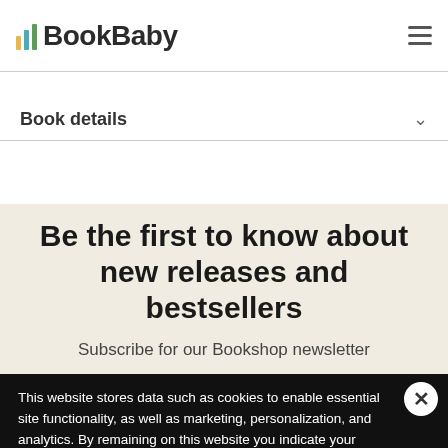BookBaby
Book details
Be the first to know about new releases and bestsellers
Subscribe for our Bookshop newsletter
This website stores data such as cookies to enable essential site functionality, as well as marketing, personalization, and analytics. By remaining on this website you indicate your consent. Cookie Policy